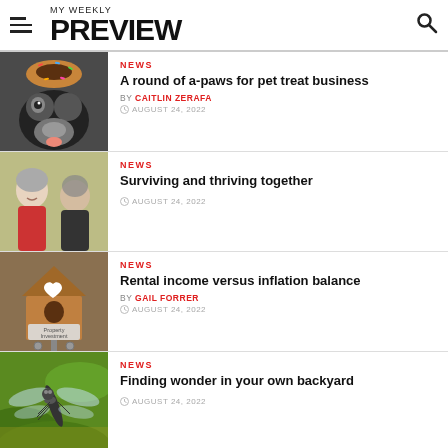MY WEEKLY PREVIEW
NEWS | A round of a-paws for pet treat business | BY CAITLIN ZERAFA | AUGUST 24, 2022
NEWS | Surviving and thriving together | AUGUST 24, 2022
NEWS | Rental income versus inflation balance | BY GAIL FORRER | AUGUST 24, 2022
NEWS | Finding wonder in your own backyard | AUGUST 24, 2022